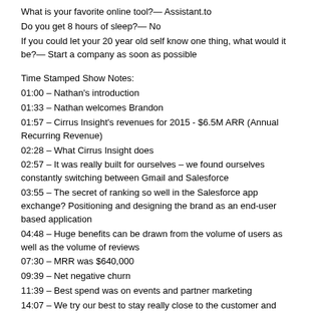What is your favorite online tool?— Assistant.to
Do you get 8 hours of sleep?— No
If you could let your 20 year old self know one thing, what would it be?— Start a company as soon as possible
Time Stamped Show Notes:
01:00 – Nathan's introduction
01:33 – Nathan welcomes Brandon
01:57 – Cirrus Insight's revenues for 2015 - $6.5M ARR (Annual Recurring Revenue)
02:28 – What Cirrus Insight does
02:57 – It was really built for ourselves – we found ourselves constantly switching between Gmail and Salesforce
03:55 – The secret of ranking so well in the Salesforce app exchange? Positioning and designing the brand as an end-user based application
04:48 – Huge benefits can be drawn from the volume of users as well as the volume of reviews
07:30 – MRR was $640,000
09:39 – Net negative churn
11:39 – Best spend was on events and partner marketing
14:07 – We try our best to stay really close to the customer and make sure we're providing value everyday
16:16 – Focus on the Google market
16:45 - @CirrusInsight and www.cirrusinsight.com/blog